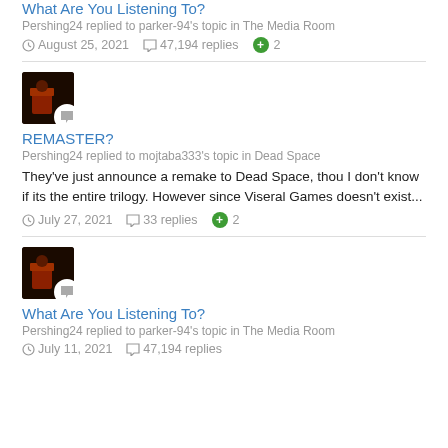What Are You Listening To?
Pershing24 replied to parker-94's topic in The Media Room
August 25, 2021   47,194 replies   +2
[Figure (photo): Dark avatar image with chat bubble badge]
REMASTER?
Pershing24 replied to mojtaba333's topic in Dead Space
They've just announce a remake to Dead Space, thou I don't know if its the entire trilogy. However since Viseral Games doesn't exist...
July 27, 2021   33 replies   +2
[Figure (photo): Dark avatar image with chat bubble badge]
What Are You Listening To?
Pershing24 replied to parker-94's topic in The Media Room
July 11, 2021   47,194 replies